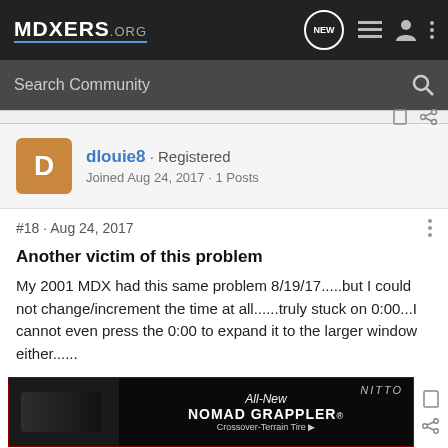MDXERS.ORG
Search Community
dlouie8 · Registered
Joined Aug 24, 2017 · 1 Posts
#18 · Aug 24, 2017
Another victim of this problem
My 2001 MDX had this same problem 8/19/17.....but I could not change/increment the time at all......truly stuck on 0:00...I cannot even press the 0:00 to expand it to the larger window either......
[Figure (photo): Advertisement banner for Nitto All-New Nomad Grappler Crossover-Terrain Tire showing a tire and vehicle at night]